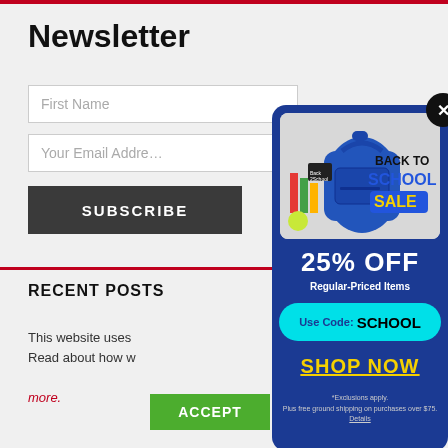Newsletter
First Name
Your Email Address
SUBSCRIBE
RECENT POSTS
This website uses
Read about how w
more.
ACCEPT
[Figure (infographic): Back to School Sale popup overlay on a dark blue background. Shows a blue backpack with school supplies, text reading BACK TO SCHOOL SALE, 25% OFF, Regular-Priced Items, Use Code: SCHOOL, SHOP NOW, *Exclusions apply. Plus free ground shipping on purchases over $75. Details. Has a close (X) button.]